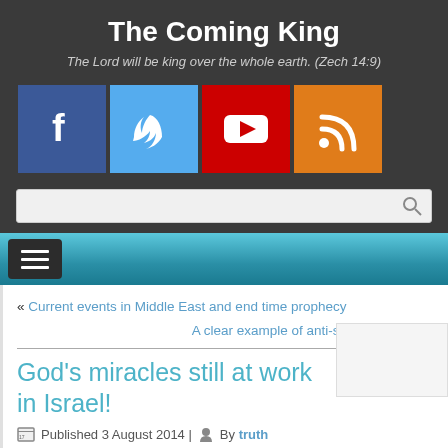The Coming King
The Lord will be king over the whole earth. (Zech 14:9)
[Figure (infographic): Social media icons row: Facebook (blue), Twitter (light blue), YouTube (red), RSS (orange)]
[Figure (screenshot): Search bar with magnifying glass icon]
[Figure (infographic): Teal navigation bar with dark hamburger menu button]
« Current events in Middle East and end time prophecy
A clear example of anti-semitism in UK »
God's miracles still at work in Israel!
Published 3 August 2014 | By truth
In the current Israel/Gaza conflict is was not long before